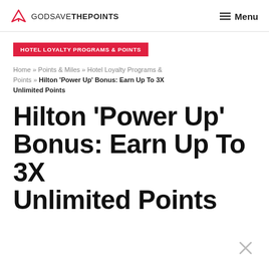GODSAVETHEPOINTS   Menu
HOTEL LOYALTY PROGRAMS & POINTS
Home » Points & Miles » Hotel Loyalty Programs & Points » Hilton 'Power Up' Bonus: Earn Up To 3X Unlimited Points
Hilton 'Power Up' Bonus: Earn Up To 3X Unlimited Points